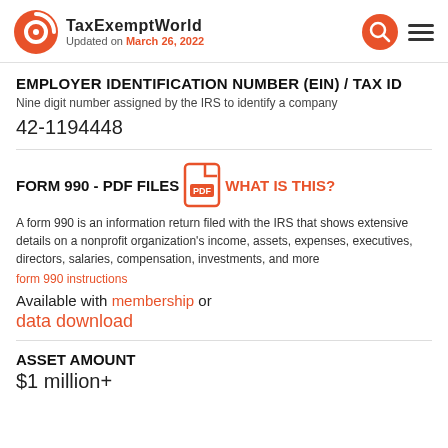TaxExemptWorld Updated on March 26, 2022
EMPLOYER IDENTIFICATION NUMBER (EIN) / TAX ID
Nine digit number assigned by the IRS to identify a company
42-1194448
FORM 990 - PDF FILES  WHAT IS THIS?
A form 990 is an information return filed with the IRS that shows extensive details on a nonprofit organization's income, assets, expenses, executives, directors, salaries, compensation, investments, and more
form 990 instructions
Available with membership or
data download
ASSET AMOUNT
$1 million+